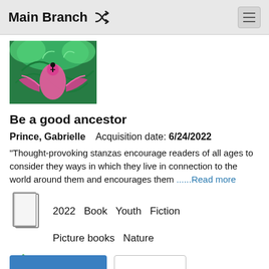Main Branch
[Figure (illustration): Colorful fantasy book cover with green and pink swirling imagery, bird-like figure with wings spread against a forest background]
Be a good ancestor
Prince, Gabrielle    Acquisition date: 6/24/2022
"Thought-provoking stanzas encourage readers of all ages to consider they ways in which they live in connection to the world around them and encourages them ......Read more
2022   Book   Youth   Fiction
Picture books   Nature
Available